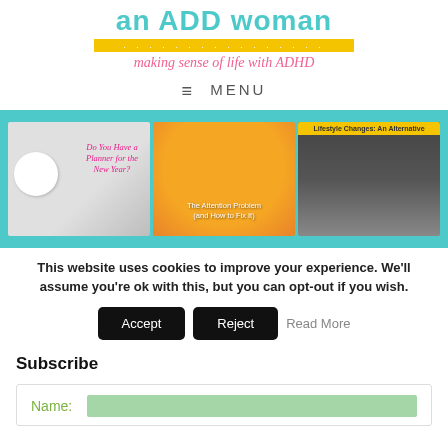an ADD woman
making sense of life with ADHD
≡ MENU
[Figure (screenshot): Carousel of three blog post thumbnails: 'Do You Have a Planner for the New Year?', 'The Attention Problem (and How to Fix It)', 'Lifestyle Changes: An Alternative', on a teal background]
This website uses cookies to improve your experience. We'll assume you're ok with this, but you can opt-out if you wish.
Accept   Reject   Read More
Subscribe
Name: